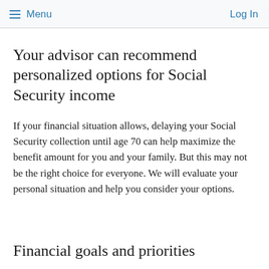Menu  Log In
Your advisor can recommend personalized options for Social Security income
If your financial situation allows, delaying your Social Security collection until age 70 can help maximize the benefit amount for you and your family. But this may not be the right choice for everyone. We will evaluate your personal situation and help you consider your options.
Financial goals and priorities